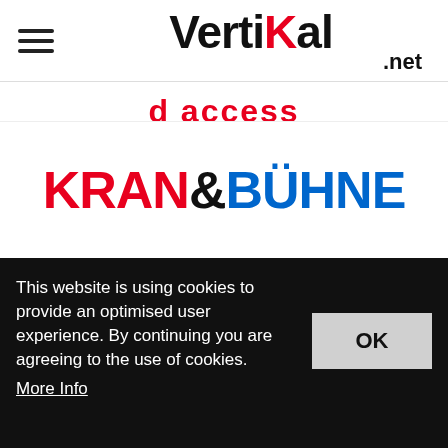[Figure (logo): Vertikal.net website header with hamburger menu icon on the left and the Vertikal.net logo centered, with black text and red K]
[Figure (logo): Partially visible red cursive/stylized text showing 'd access' or similar, cropped at top]
[Figure (logo): KRAN&BÜHNE logo: KRAN in red, ampersand in black, BÜHNE in blue, bold sans-serif]
[Figure (logo): Vertikal Days logo: stylized red text 'days' with Vertikal branding and yellow sunburst/blob]
This website is using cookies to provide an optimised user experience. By continuing you are agreeing to the use of cookies. More Info